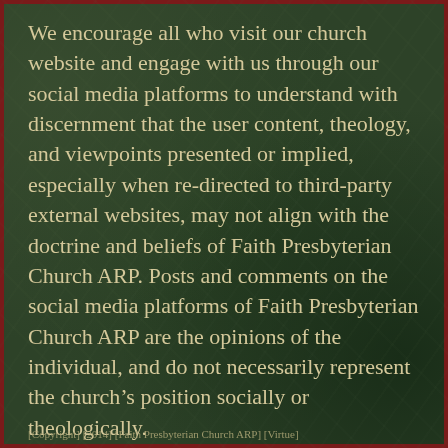We encourage all who visit our church website and engage with us through our social media platforms to understand with discernment that the user content, theology, and viewpoints presented or implied, especially when re-directed to third-party external websites, may not align with the doctrine and beliefs of Faith Presbyterian Church ARP. Posts and comments on the social media platforms of Faith Presbyterian Church ARP are the opinions of the individual, and do not necessarily represent the church's position socially or theologically.
[Copyright] [2014] [Faith Presbyterian Church ARP] [Virtue]